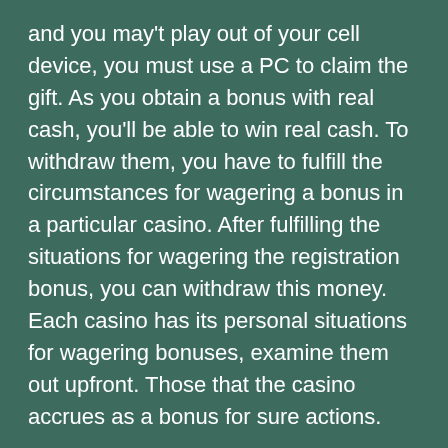and you may't play out of your cell device, you must use a PC to claim the gift. As you obtain a bonus with real cash, you'll be able to win real cash. To withdraw them, you have to fulfill the circumstances for wagering a bonus in a particular casino. After fulfilling the situations for wagering the registration bonus, you can withdraw this money. Each casino has its personal situations for wagering bonuses, examine them out upfront. Those that the casino accrues as a bonus for sure actions.
Launched in 2017, HeySpin casino is licensed by the Malta Gaming Authority and the UK